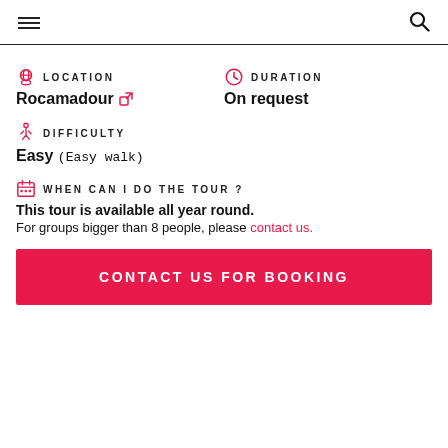Navigation header with hamburger menu and search icon
LOCATION
Rocamadour
DURATION
On request
DIFFICULTY
Easy (Easy walk)
WHEN CAN I DO THE TOUR ?
This tour is available all year round. For groups bigger than 8 people, please contact us.
CONTACT US FOR BOOKING